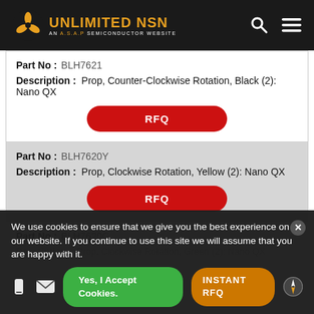UNLIMITED NSN - AN A.S.A.P SEMICONDUCTOR WEBSITE
Part No: BLH7621
Description: Prop, Counter-Clockwise Rotation, Black (2): Nano QX
RFQ
Part No: BLH7620Y
Description: Prop, Clockwise Rotation, Yellow (2): Nano QX
RFQ
Part No: BLH7620G
Description: Prop, Clockwise Rotation, Green (2): Nano QX
RFQ
We use cookies to ensure that we give you the best experience on our website. If you continue to use this site we will assume that you are happy with it.
Yes, I Accept Cookies.